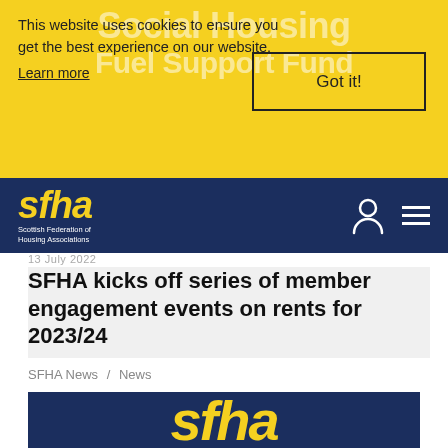This website uses cookies to ensure you get the best experience on our website.
Learn more
Got it!
[Figure (logo): SFHA logo - Scottish Federation of Housing Associations, yellow italic text on dark navy background]
SFHA kicks off series of member engagement events on rents for 2023/24
SFHA News / News
[Figure (logo): SFHA logo in yellow on dark navy blue background, partial view]